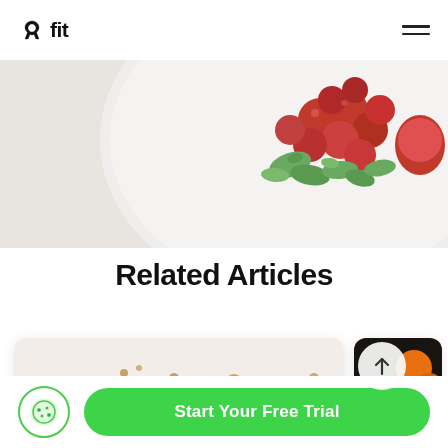8fit
[Figure (photo): Close-up food photo showing cherry tomatoes and green herbs on a white plate with oats/granola in background]
Related Articles
[Figure (photo): Food photo showing dark dried fruits, nuts and seeds on a white background]
[Figure (photo): Partial food photo showing orange fruits and seeds on dark background with an up-arrow circular button overlay]
Start Your Free Trial